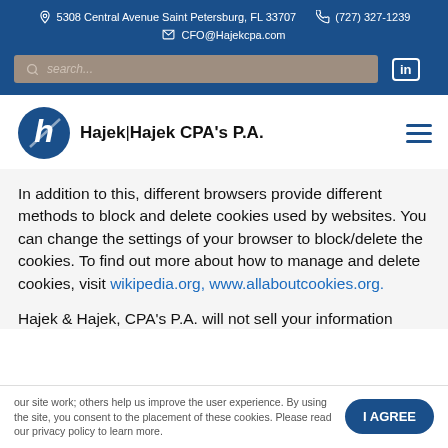5308 Central Avenue Saint Petersburg, FL 33707 | (727) 327-1239 | CFO@Hajekcpa.com
Hajek | Hajek CPA's P.A.
In addition to this, different browsers provide different methods to block and delete cookies used by websites. You can change the settings of your browser to block/delete the cookies. To find out more about how to manage and delete cookies, visit wikipedia.org, www.allaboutcookies.org.
Hajek & Hajek, CPA's P.A. will not sell your information
our site work; others help us improve the user experience. By using the site, you consent to the placement of these cookies. Please read our privacy policy to learn more.